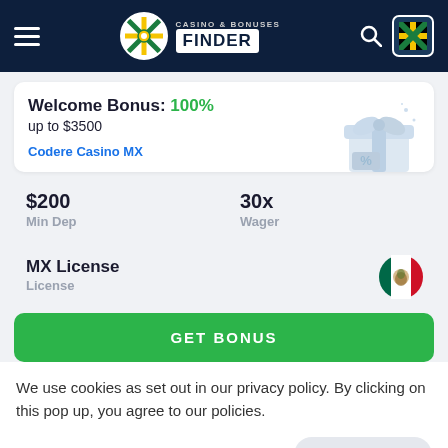[Figure (screenshot): Casino & Bonuses Finder website header with hamburger menu, logo, search icon, and Jamaica flag icon on dark navy background]
Welcome Bonus: 100% up to $3500
Codere Casino MX
$200
Min Dep
30x
Wager
MX License
License
GET BONUS
We use cookies as set out in our privacy policy. By clicking on this pop up, you agree to our policies.
Read the privacy policy
It's OK For Me